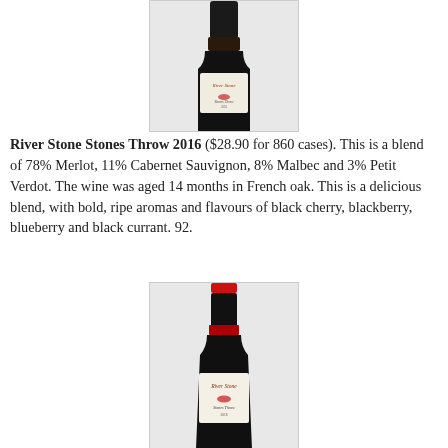[Figure (photo): Photo of a River Stone wine bottle (top portion), showing label with cursive text and figure logo, dark bottle body, cropped at bottom]
River Stone Stones Throw 2016 ($28.90 for 860 cases). This is a blend of 78% Merlot, 11% Cabernet Sauvignon, 8% Malbec and 3% Petit Verdot. The wine was aged 14 months in French oak. This is a delicious blend, with bold, ripe aromas and flavours of black cherry, blackberry, blueberry and black currant. 92.
[Figure (photo): Photo of a River Stone wine bottle (full bottle visible from top), showing red foil capsule, dark bottle, white label with River Stone cursive text and skier/surfer logo]